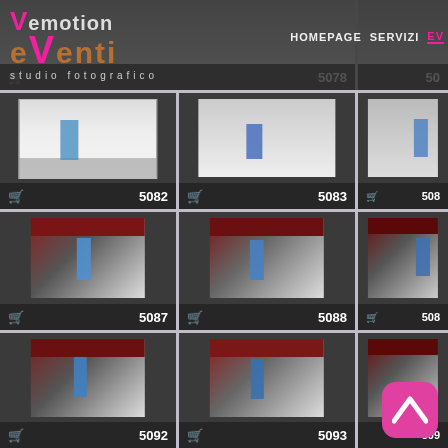[Figure (screenshot): Website screenshot of 'eVenti – studio fotografico' (Vemotion Eventi photo studio) showing a grid of gymnastics event photos numbered 5078, 5082, 5083, 5087, 5088, 5092, 5093 and partial cards. Navigation bar shows HOMEPAGE, SERVIZI, EV... A pink app icon with lambda/chevron is visible bottom-right.]